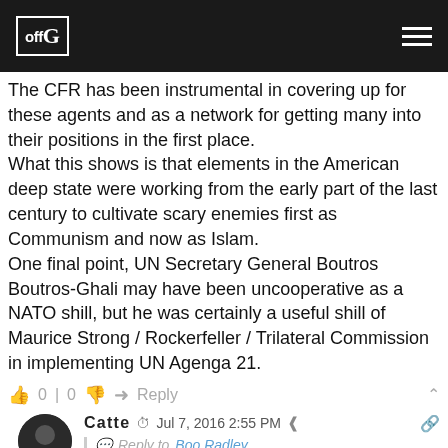offG
The CFR has been instrumental in covering up for these agents and as a network for getting many into their positions in the first place.
What this shows is that elements in the American deep state were working from the early part of the last century to cultivate scary enemies first as Communism and now as Islam.
One final point, UN Secretary General Boutros Boutros-Ghali may have been uncooperative as a NATO shill, but he was certainly a useful shill of Maurice Strong / Rockerfeller / Trilateral Commission in implementing UN Agenga 21.
0 | 0   Reply
[Figure (photo): Round avatar of user Catte showing a person's silhouette in dark tones]
Catte  Jul 7, 2016 2:55 PM
Reply to Boo Radley